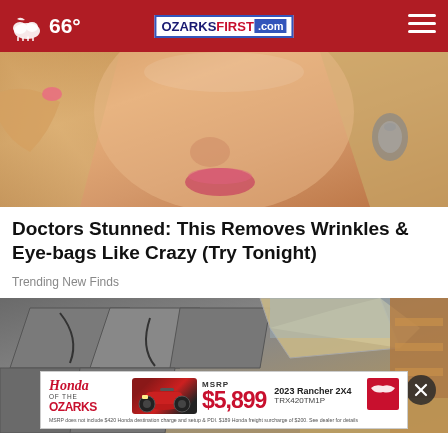66° | OZARKSFIRST.com
[Figure (photo): Close-up photo of a woman's face touching her cheek, with blonde hair and earrings visible]
Doctors Stunned: This Removes Wrinkles & Eye-bags Like Crazy (Try Tonight)
Trending New Finds
[Figure (photo): Photo of damaged roof shingles, cracked and peeling, with construction materials visible]
[Figure (photo): Honda of the Ozarks advertisement showing a red ATV (2023 Rancher 2X4 TRX420TM1P) with MSRP $5,899]